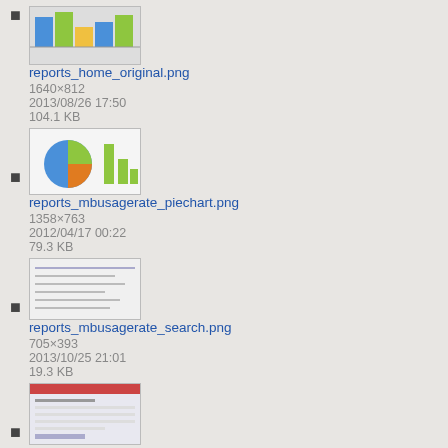reports_home_original.png
1640×812
2013/08/26 17:50
104.1 KB
reports_mbusagerate_piechart.png
1358×763
2012/04/17 00:22
79.3 KB
reports_mbusagerate_search.png
705×393
2013/10/25 21:01
19.3 KB
roam_server_add_user_specified.png